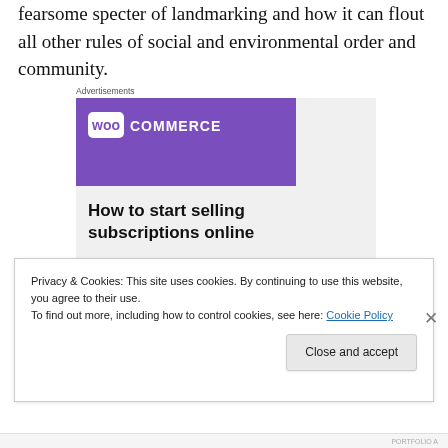fearsome specter of landmarking and how it can flout all other rules of social and environmental order and community.
[Figure (illustration): WooCommerce advertisement banner with purple background, WooCommerce logo, green and blue triangle decorative shapes, and text 'How to start selling subscriptions online']
Privacy & Cookies: This site uses cookies. By continuing to use this website, you agree to their use.
To find out more, including how to control cookies, see here: Cookie Policy
Close and accept